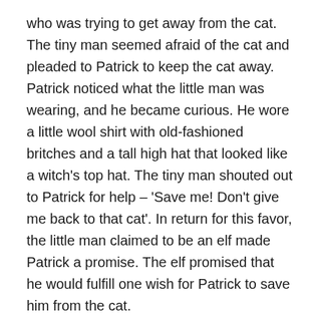who was trying to get away from the cat. The tiny man seemed afraid of the cat and pleaded to Patrick to keep the cat away. Patrick noticed what the little man was wearing, and he became curious. He wore a little wool shirt with old-fashioned britches and a tall high hat that looked like a witch's top hat. The tiny man shouted out to Patrick for help – 'Save me! Don't give me back to that cat'. In return for this favor, the little man claimed to be an elf made Patrick a promise. The elf promised that he would fulfill one wish for Patrick to save him from the cat.